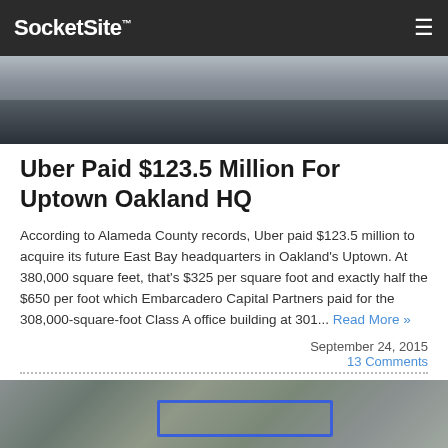SocketSite™
[Figure (photo): Street-level photo of people walking in an urban area, partially visible at top of page]
Uber Paid $123.5 Million For Uptown Oakland HQ
According to Alameda County records, Uber paid $123.5 million to acquire its future East Bay headquarters in Oakland's Uptown. At 380,000 square feet, that's $325 per square foot and exactly half the $650 per foot which Embarcadero Capital Partners paid for the 308,000-square-foot Class A office building at 301... Read More »
September 24, 2015
13 Comments
[Figure (photo): Aerial map view of Uptown Oakland showing city blocks with a blue outlined polygon marking the property location]